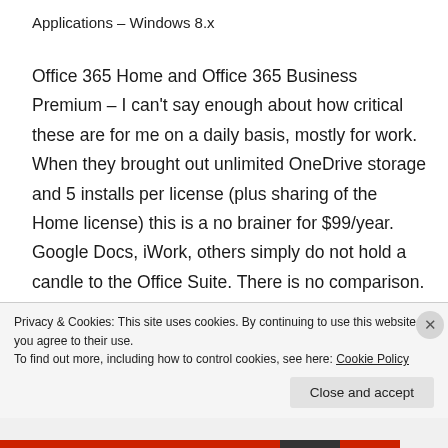Applications – Windows 8.x
Office 365 Home and Office 365 Business Premium – I can't say enough about how critical these are for me on a daily basis, mostly for work. When they brought out unlimited OneDrive storage and 5 installs per license (plus sharing of the Home license) this is a no brainer for $99/year. Google Docs, iWork, others simply do not hold a candle to the Office Suite. There is no comparison. Anyone telling you they get along just fine in these doesn't do anything complex. And that's great for them. But if you need serious tools these are those. It's the
Privacy & Cookies: This site uses cookies. By continuing to use this website, you agree to their use.
To find out more, including how to control cookies, see here: Cookie Policy
Close and accept